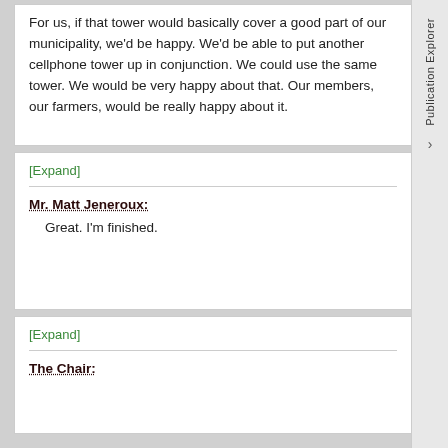For us, if that tower would basically cover a good part of our municipality, we'd be happy. We'd be able to put another cellphone tower up in conjunction. We could use the same tower. We would be very happy about that. Our members, our farmers, would be really happy about it.
[Expand]
Mr. Matt Jeneroux:
Great. I'm finished.
[Expand]
The Chair: